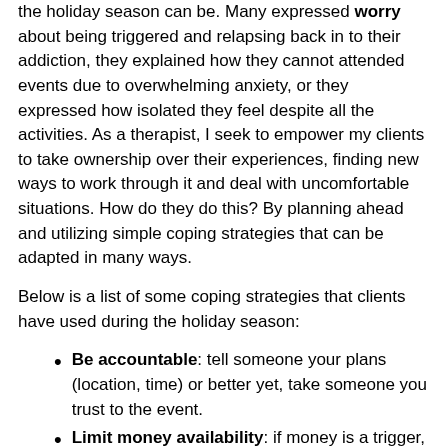the holiday season can be. Many expressed worry about being triggered and relapsing back in to their addiction, they explained how they cannot attended events due to overwhelming anxiety, or they expressed how isolated they feel despite all the activities. As a therapist, I seek to empower my clients to take ownership over their experiences, finding new ways to work through it and deal with uncomfortable situations. How do they do this? By planning ahead and utilizing simple coping strategies that can be adapted in many ways.
Below is a list of some coping strategies that clients have used during the holiday season:
Be accountable: tell someone your plans (location, time) or better yet, take someone you trust to the event.
Limit money availability: if money is a trigger, pre-plan the amount you'll need (food/transportation) and bring that amount in cash, leaving debit/credit cards behind.
Time Outs: anxiety/panic attacks can happen at any time, so if you feel one coming on